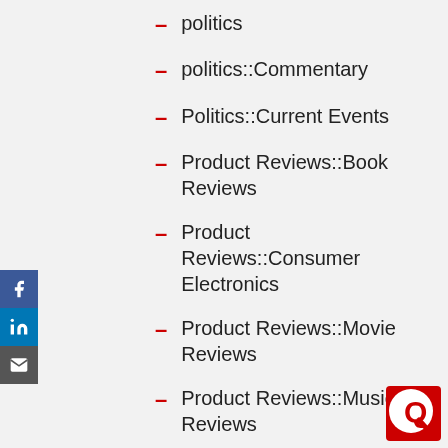politics
politics::Commentary
Politics::Current Events
Product Reviews::Book Reviews
Product Reviews::Consumer Electronics
Product Reviews::Movie Reviews
Product Reviews::Music Reviews
recreation
[Figure (logo): Quora red circular logo with Q and chat bubble, bottom right corner]